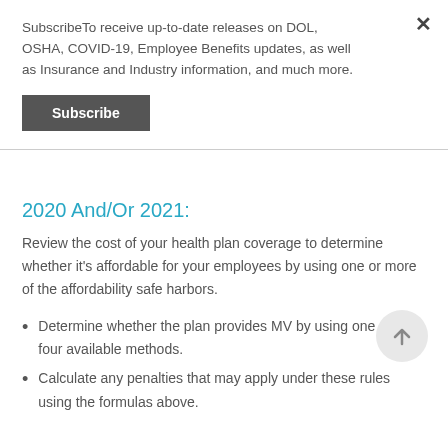SubscribeTo receive up-to-date releases on DOL, OSHA, COVID-19, Employee Benefits updates, as well as Insurance and Industry information, and much more.
Subscribe
2020 And/Or 2021:
Review the cost of your health plan coverage to determine whether it's affordable for your employees by using one or more of the affordability safe harbors.
Determine whether the plan provides MV by using one of the four available methods.
Calculate any penalties that may apply under these rules using the formulas above.